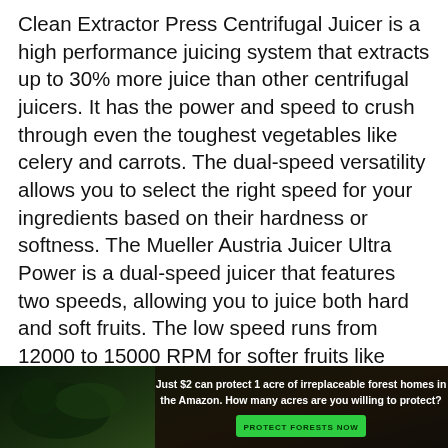Clean Extractor Press Centrifugal Juicer is a high performance juicing system that extracts up to 30% more juice than other centrifugal juicers. It has the power and speed to crush through even the toughest vegetables like celery and carrots. The dual-speed versatility allows you to select the right speed for your ingredients based on their hardness or softness. The Mueller Austria Juicer Ultra Power is a dual-speed juicer that features two speeds, allowing you to juice both hard and soft fruits. The low speed runs from 12000 to 15000 RPM for softer fruits like oranges, tomatoes and others; the high speed runs from 15000 to 18000 RPM for harder fruits like carrots, celery, beets, kale and many others. This juicing machine also comes with an extra-
[Figure (other): Advertisement banner: forest/Amazon conservation ad reading 'Just $2 can protect 1 acre of irreplaceable forest homes in the Amazon. How many acres are you willing to protect?' with a green 'PROTECT FORESTS NOW' button, overlaid on a dark forest background image.]